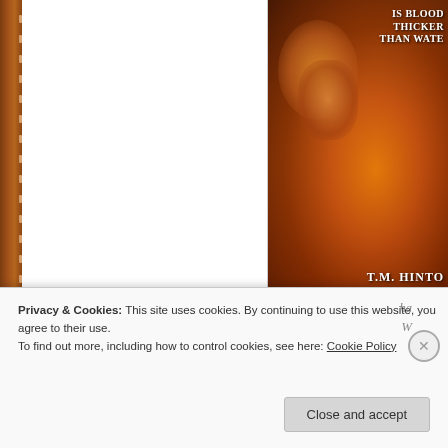[Figure (illustration): Book cover for 'Is Blood Thicker Than Water?' by T.M. Hinto, featuring a warm orange/brown lion or animal image with bold white text]
Is Blood Thicker Than Water?
Three years ago Aubrey Fox's husband, a Pittsburg County U... remote pasture, dead from an unknown assailant's bullet. Wi... his case went cold. Aubrey was left to mourn as best she co... of closure. Who killed Mark and why? Meanwhile, life went o... cattle to feed.
Privacy & Cookies: This site uses cookies. By continuing to use this website, you agree to their use.
To find out more, including how to control cookies, see here: Cookie Policy
Close and accept